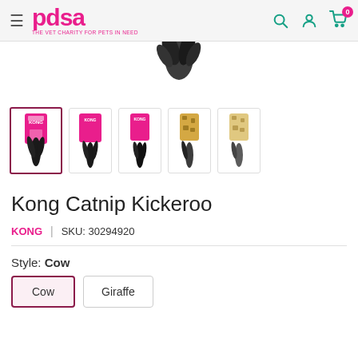pdsa - THE VET CHARITY FOR PETS IN NEED
[Figure (photo): Product thumbnail showing Kong Catnip Kickeroo cat toy with black feathers - main image (partial, top of product visible)]
[Figure (photo): Row of 5 product thumbnail images of Kong Catnip Kickeroo cat toy in Cow and Giraffe styles]
Kong Catnip Kickeroo
KONG  |  SKU: 30294920
Style: Cow
Cow  Giraffe